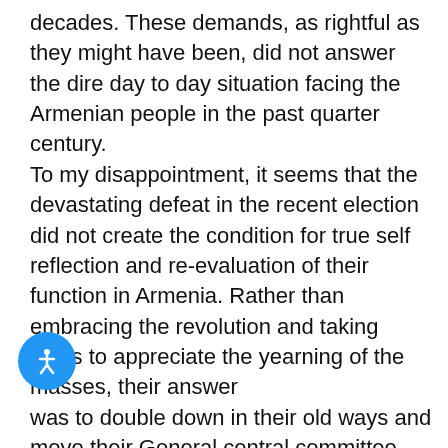decades. These demands, as rightful as they might have been, did not answer the dire day to day situation facing the Armenian people in the past quarter century. To my disappointment, it seems that the devastating defeat in the recent election did not create the condition for true self reflection and re-evaluation of their function in Armenia. Rather than embracing the revolution and taking steps to appreciate the yearning of the masses, their answer was to double down in their old ways and move their General central committee meeting to Kharabakh for no apparent functional reason but to boast their “we will not give up an inch of land” moto one more time. I believe that in aggregate, The ARF has played a big role in shaping the Armenian Diaspora in the past century and with its vast network of political (ANC) and stitutions, it can act as a great lobbying wing of t revolutionary government in Armenia. It should not continue to act as political party in Armenia just
[Figure (other): Blue circular accessibility button with white person/wheelchair icon]